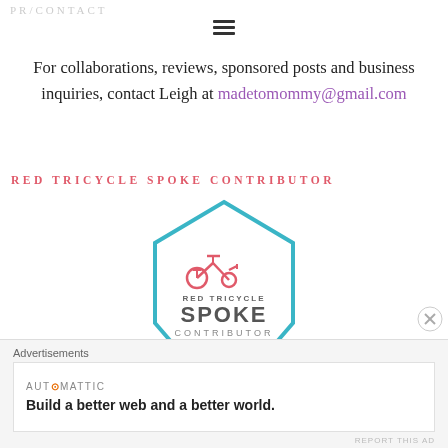PR/CONTACT
For collaborations, reviews, sponsored posts and business inquiries, contact Leigh at madetomommy@gmail.com
RED TRICYCLE SPOKE CONTRIBUTOR
[Figure (logo): Red Tricycle Spoke Contributor badge — teal hexagon outline with red tricycle icon on top, 'RED TRICYCLE' text, large 'SPOKE' text, 'CONTRIBUTOR' text, and a wheel graphic at the bottom]
Advertisements
AUTOMATTIC — Build a better web and a better world.